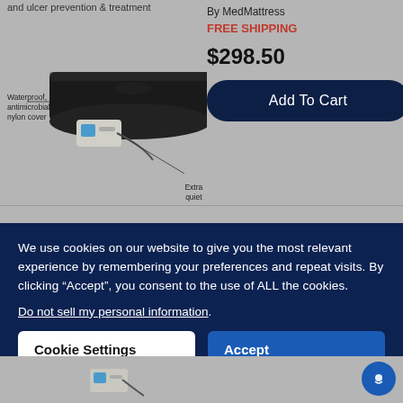and ulcer prevention & treatment
[Figure (photo): Medical air mattress with waterproof antimicrobial nylon cover and extra quiet pump. Labels indicate: Waterproof, antimicrobial nylon cover; Extra quiet pump allowing for restful sleep.]
By MedMattress
FREE SHIPPING
$298.50
Add To Cart
We use cookies on our website to give you the most relevant experience by remembering your preferences and repeat visits. By clicking “Accept”, you consent to the use of ALL the cookies.
Do not sell my personal information.
Cookie Settings
Accept